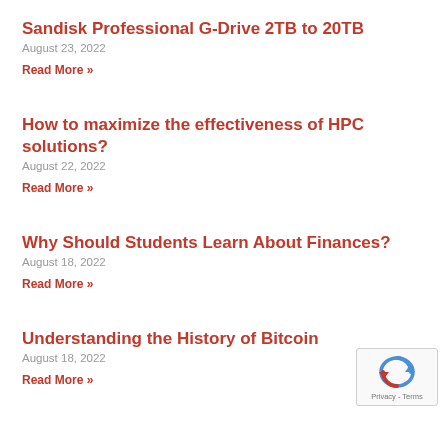Sandisk Professional G-Drive 2TB to 20TB
August 23, 2022
Read More »
How to maximize the effectiveness of HPC solutions?
August 22, 2022
Read More »
Why Should Students Learn About Finances?
August 18, 2022
Read More »
Understanding the History of Bitcoin
August 18, 2022
Read More »
[Figure (logo): reCAPTCHA badge with Privacy and Terms links]